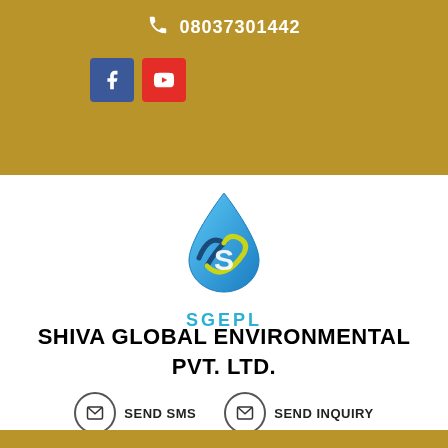08037301442
[Figure (logo): SGEPL water drop logo with S letter inside and SGEPL text below]
SHIVA GLOBAL ENVIRONMENTAL PVT. LTD.
SEND SMS   SEND INQUIRY